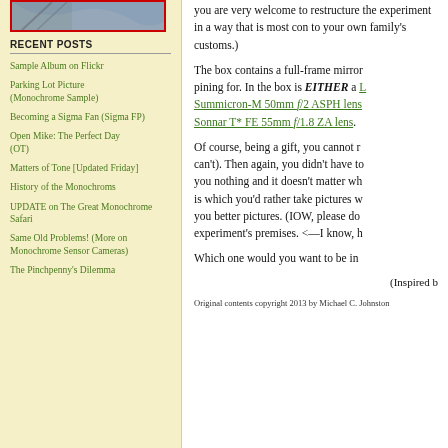[Figure (photo): Partial photo with red border, top of left column]
RECENT POSTS
Sample Album on Flickr
Parking Lot Picture (Monochrome Sample)
Becoming a Sigma Fan (Sigma FP)
Open Mike: The Perfect Day (OT)
Matters of Tone [Updated Friday]
History of the Monochroms
UPDATE on The Great Monochrome Safari
Same Old Problems! (More on Monochrome Sensor Cameras)
The Pinchpenny's Dilemma
you are very welcome to restructure the experiment in a way that is most compatible to your own family's customs.)
The box contains a full-frame mirror camera you've been pining for. In the box is EITHER a Leica Summicron-M 50mm f/2 ASPH lens OR a Sony Sonnar T* FE 55mm f/1.8 ZA lens.
Of course, being a gift, you cannot return it (or you can't). Then again, you didn't have to pay for it, it cost you nothing and it doesn't matter which it is—all that is which you'd rather take pictures with, and which will give you better pictures. (IOW, please don't argue about the experiment's premises. <—I know, h
Which one would you want to be in the box?
(Inspired b
Original contents copyright 2013 by Michael C. Johnston